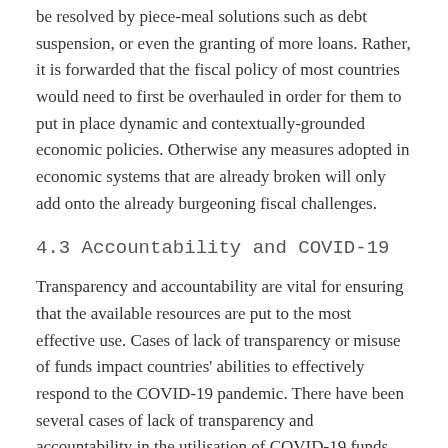be resolved by piece-meal solutions such as debt suspension, or even the granting of more loans. Rather, it is forwarded that the fiscal policy of most countries would need to first be overhauled in order for them to put in place dynamic and contextually-grounded economic policies. Otherwise any measures adopted in economic systems that are already broken will only add onto the already burgeoning fiscal challenges.
4.3 Accountability and COVID-19
Transparency and accountability are vital for ensuring that the available resources are put to the most effective use. Cases of lack of transparency or misuse of funds impact countries' abilities to effectively respond to the COVID-19 pandemic. There have been several cases of lack of transparency and accountability in the utilisation of COVID-19 funds throughout various African countries. For example, in Uganda MS P and it is argued that the...